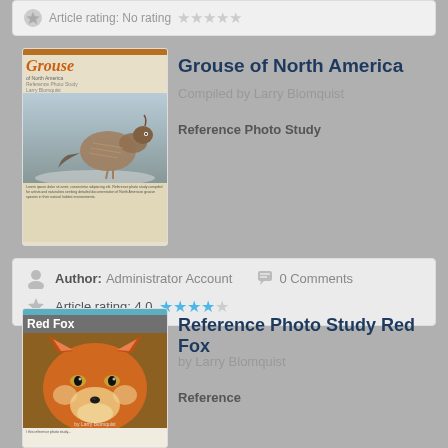Article rating: No rating ☆☆☆☆☆
[Figure (illustration): Book cover thumbnail for 'Grouse of North America' showing a grouse bird photograph with orange title text]
Grouse of North America
Compiled by Larry Blomquist
Reference Photo Study
Author: Administrator Account   0 Comments
Article rating: 4.0 ★★★★☆
[Figure (illustration): Book cover thumbnail for 'Reference Photo Study Red Fox' showing a red fox face photograph with white title text]
Reference Photo Study Red Fox
by Larry Blomquist
Reference